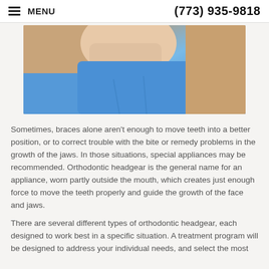MENU | (773) 935-9818
[Figure (photo): Close-up photo of a child's neck and chin area, wearing a blue hoodie, against a tan/beige background — related to orthodontic headgear.]
Sometimes, braces alone aren't enough to move teeth into a better position, or to correct trouble with the bite or remedy problems in the growth of the jaws. In those situations, special appliances may be recommended. Orthodontic headgear is the general name for an appliance, worn partly outside the mouth, which creates just enough force to move the teeth properly and guide the growth of the face and jaws.
There are several different types of orthodontic headgear, each designed to work best in a specific situation. A treatment program will be designed to address your individual needs, and select the most appropriate type of headgear to suit those needs.